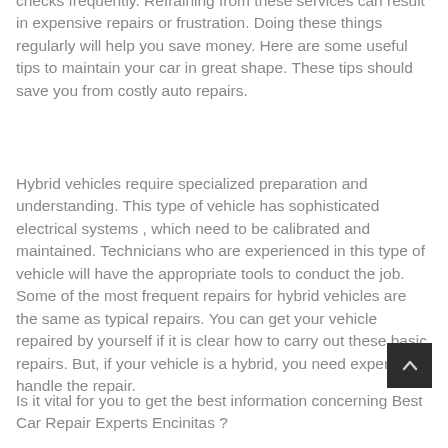checks frequently. Refraining from these services can result in expensive repairs or frustration. Doing these things regularly will help you save money. Here are some useful tips to maintain your car in great shape. These tips should save you from costly auto repairs.
Hybrid vehicles require specialized preparation and understanding. This type of vehicle has sophisticated electrical systems , which need to be calibrated and maintained. Technicians who are experienced in this type of vehicle will have the appropriate tools to conduct the job. Some of the most frequent repairs for hybrid vehicles are the same as typical repairs. You can get your vehicle repaired by yourself if it is clear how to carry out these basic repairs. But, if your vehicle is a hybrid, you need experts to handle the repair.
Is it vital for you to get the best information concerning Best Car Repair Experts Encinitas ?